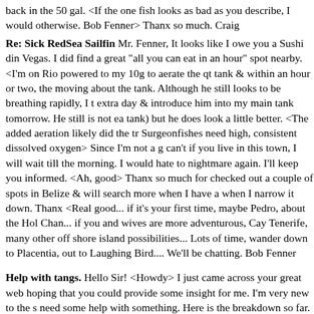back in the 50 gal. <If the one fish looks as bad as you describe, I would otherwise. Bob Fenner> Thanx so much. Craig
Re: Sick RedSea Sailfin Mr. Fenner, It looks like I owe you a Sushi din Vegas. I did find a great "all you can eat in an hour" spot nearby. <I'm on Rio powered to my 10g to aerate the qt tank & within an hour or two, the moving about the tank. Although he still looks to be breathing rapidly, I t extra day & introduce him into my main tank tomorrow. He still is not ea tank) but he does look a little better. <The added aeration likely did the tr Surgeonfishes need high, consistent dissolved oxygen> Since I'm not a g can't if you live in this town, I will wait till the morning. I would hate to nightmare again. I'll keep you informed. <Ah, good> Thanx so much for checked out a couple of spots in Belize & will search more when I have a when I narrow it down. Thanx <Real good... if it's your first time, maybe Pedro, about the Hol Chan... if you and wives are more adventurous, Cay Tenerife, many other off shore island possibilities... Lots of time, wander down to Placentia, out to Laughing Bird.... We'll be chatting. Bob Fenner
Help with tangs. Hello Sir! <Howdy> I just came across your great web hoping that you could provide some insight for me. I'm very new to the s need some help with something. Here is the breakdown so far. Currently gallon bow front, with about 100 to 105 pounds of live rock, a skimmer a bio-wheels. In the tank I have 2 damsel (sp?)<yes> fish and one pretty bi Sailfin tang from the red sea. This fish is wonderful!! So smart and frien kind of pet him. <Neat> Anyways, here is my problem. This past weekend